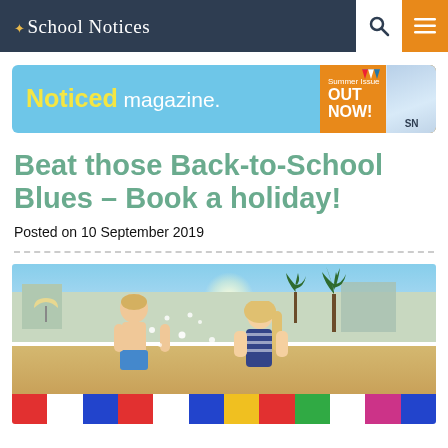School Notices
[Figure (illustration): Noticed magazine advertisement banner — blue background with yellow 'Noticed' text, white 'magazine.' text, orange panel with 'Summer Issue OUT NOW!' and a magazine cover thumbnail]
Beat those Back-to-School Blues – Book a holiday!
Posted on 10 September 2019
[Figure (photo): Two young children laughing and running in a sunny outdoor water park or resort, with palm trees, sun glare, colorful striped walls and umbrellas in the background]